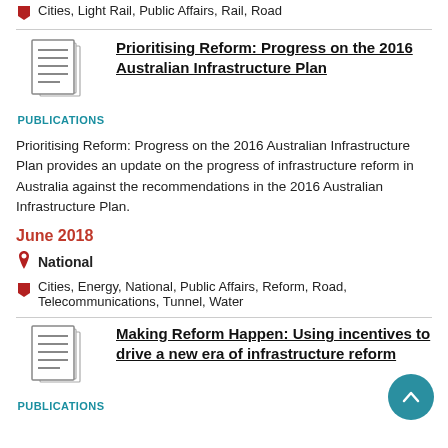Cities, Light Rail, Public Affairs, Rail, Road
[Figure (illustration): Document/publication icon showing stacked pages with lines]
PUBLICATIONS
Prioritising Reform: Progress on the 2016 Australian Infrastructure Plan
Prioritising Reform: Progress on the 2016 Australian Infrastructure Plan provides an update on the progress of infrastructure reform in Australia against the recommendations in the 2016 Australian Infrastructure Plan.
June 2018
National
Cities, Energy, National, Public Affairs, Reform, Road, Telecommunications, Tunnel, Water
[Figure (illustration): Document/publication icon showing stacked pages with lines]
PUBLICATIONS
Making Reform Happen: Using incentives to drive a new era of infrastructure reform